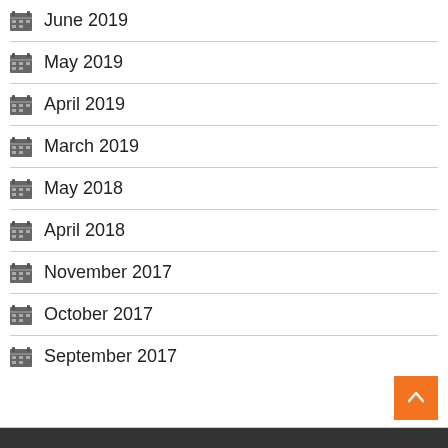June 2019
May 2019
April 2019
March 2019
May 2018
April 2018
November 2017
October 2017
September 2017